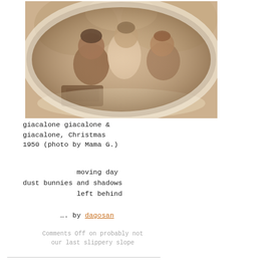[Figure (photo): Sepia-toned vintage photograph of three children bundled in winter clothing, sitting together outdoors against a rocky or snowy background. Christmas 1950, photo by Mama G.]
giacalone giacalone & giacalone, Christmas 1950 (photo by Mama G.)
moving day
dust bunnies and shadows
left behind
…. by dagosan
Comments Off on probably not our last slippery slope